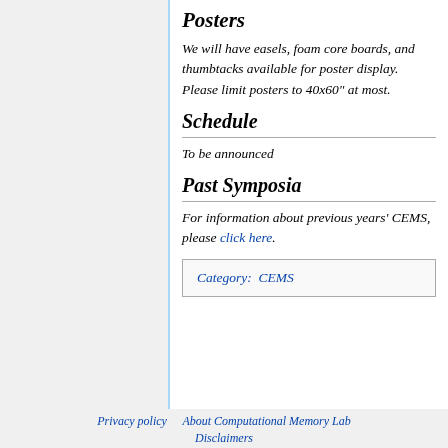Posters
We will have easels, foam core boards, and thumbtacks available for poster display. Please limit posters to 40x60" at most.
Schedule
To be announced
Past Symposia
For information about previous years' CEMS, please click here.
Category:  CEMS
Privacy policy   About Computational Memory Lab   Disclaimers